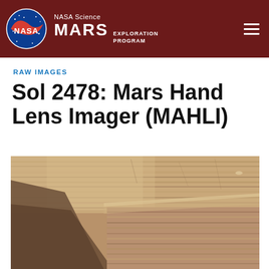NASA Science MARS EXPLORATION PROGRAM
RAW IMAGES
Sol 2478: Mars Hand Lens Imager (MAHLI)
[Figure (photo): Close-up MAHLI photograph of layered Martian rock surface showing tan/beige sedimentary rock with horizontal stratification lines and a dark shadowed area in the lower-left foreground. The rock texture is detailed with fine-grained layers.]